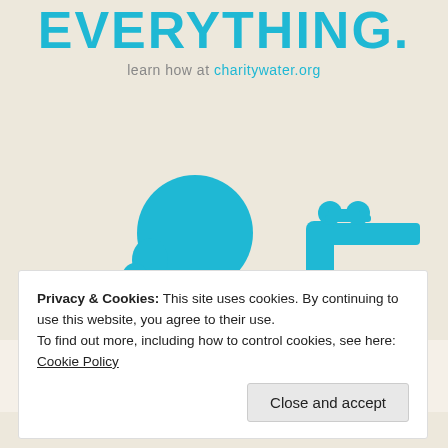[Figure (illustration): charity: water poster illustration showing a teal/cyan figure (person with round head and water drop) holding a glass under a faucet, on a beige/cream background. Text EVERYTHING. in large cyan bold letters at top, with 'learn how at charitywater.org' below.]
Privacy & Cookies: This site uses cookies. By continuing to use this website, you agree to their use.
To find out more, including how to control cookies, see here: Cookie Policy
Close and accept
Fast credit card payoff